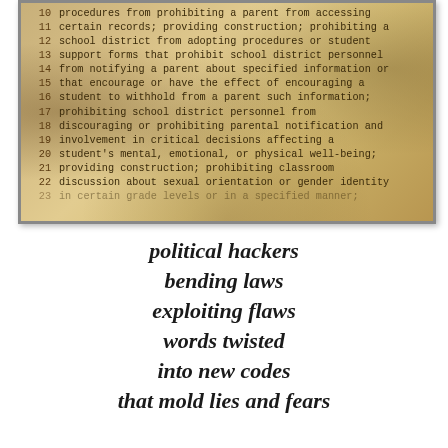[Figure (photo): Aged, yellowed document page showing numbered legislative text lines 10-23, with handwritten or typewritten monospace font. The document has a sepia/brown tone with dark edges suggesting a scanned or photographed old paper. Line numbers 10-22 are visible with partial line 23, discussing legislation about parental rights, school districts, and prohibition of classroom discussion about sexual orientation or gender identity.]
political hackers
bending laws
exploiting flaws
words twisted
into new codes
that mold lies and fears